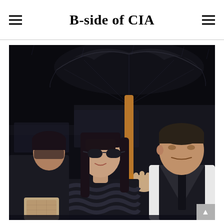B-side of CIA
[Figure (photo): Nighttime outdoor photo of a woman with long dark hair and bangs wearing dark sunglasses and a dark patterned sweater exiting a black SUV, while a man in a white shirt and vest holds a black umbrella with a golden handle over her. Another figure is partially visible behind her.]